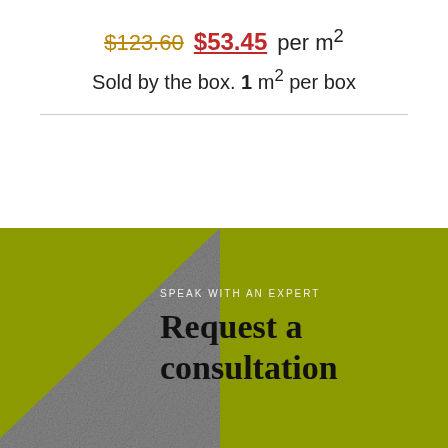$123.60 $53.45 per m² Sold by the box. 1 m² per box
[Figure (illustration): Olive/yellow-green banner section with a gray tile/stone sample image overlaid diagonally on the left side, containing text 'SPEAK WITH AN EXPERT' and 'Request a consultation']
SPEAK WITH AN EXPERT
Request a consultation